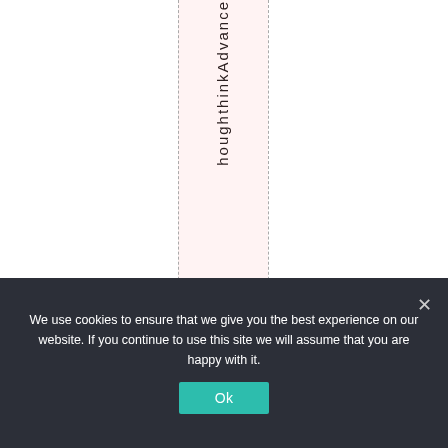[Figure (other): White page area with dashed vertical column guide lines and a pink highlighted column containing vertical text reading 'houghthinkAdvance' from top to bottom]
We use cookies to ensure that we give you the best experience on our website. If you continue to use this site we will assume that you are happy with it.